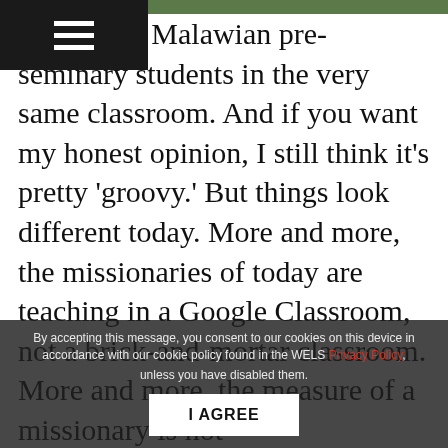[Figure (photo): Partial photograph strip visible at top of page]
mbian and Malawian pre-seminary students in the very same classroom. And if you want my honest opinion, I still think it's pretty 'groovy.' But things look different today. More and more, the missionaries of today are teaching in a Google Classroom, not a brick-and-mortar classroom. More and more, the measure of a missionary is not how quickly he can change a tire, but how quickly he can reboot his laptop to get the Zoom meetings going. Boarding schools? Today i...ing' schools. Today, missionaries are not just driving cars
By accepting this message, you consent to our cookies on this device in accordance with our cookie policy found in the WELS Privacy Policy, unless you have disabled them.
I AGREE